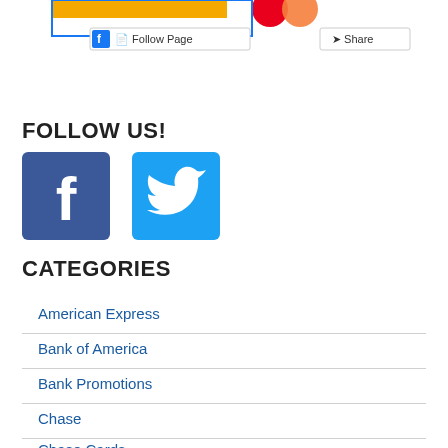[Figure (screenshot): Top portion of webpage showing Facebook Follow Page button and Share button, with partial view of logo graphics above (yellow and red/orange shapes visible at top)]
FOLLOW US!
[Figure (infographic): Social media icons: Facebook (blue square with white 'f') and Twitter (light blue square with white bird)]
CATEGORIES
American Express
Bank of America
Bank Promotions
Chase
Chase Cards